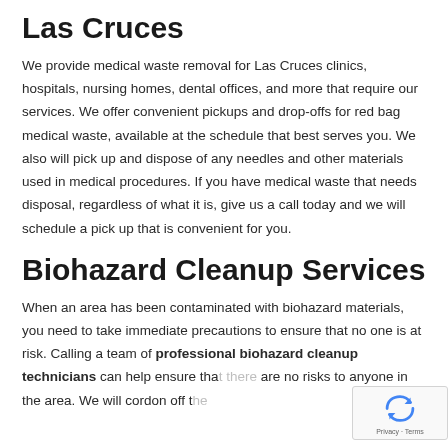Las Cruces
We provide medical waste removal for Las Cruces clinics, hospitals, nursing homes, dental offices, and more that require our services. We offer convenient pickups and drop-offs for red bag medical waste, available at the schedule that best serves you. We also will pick up and dispose of any needles and other materials used in medical procedures. If you have medical waste that needs disposal, regardless of what it is, give us a call today and we will schedule a pick up that is convenient for you.
Biohazard Cleanup Services
When an area has been contaminated with biohazard materials, you need to take immediate precautions to ensure that no one is at risk. Calling a team of professional biohazard cleanup technicians can help ensure that there are no risks to anyone in the area. We will cordon off the